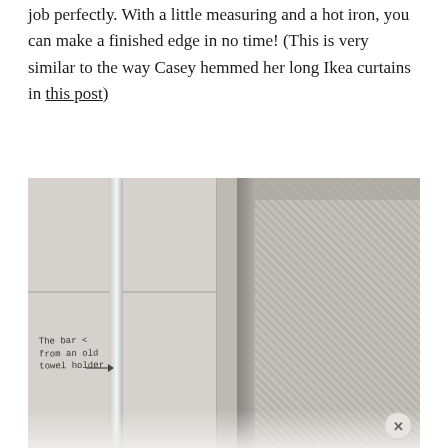job perfectly. With a little measuring and a hot iron, you can make a finished edge in no time! (This is very similar to the way Casey hemmed her long Ikea curtains in this post)
[Figure (photo): Photo showing a metal bar from an old towel holder placed against a tiled wall next to a grey herringbone fabric/curtain with fringed edge. Handwritten annotation reads 'The bar from an old towel holder' with an arrow pointing to the bar.]